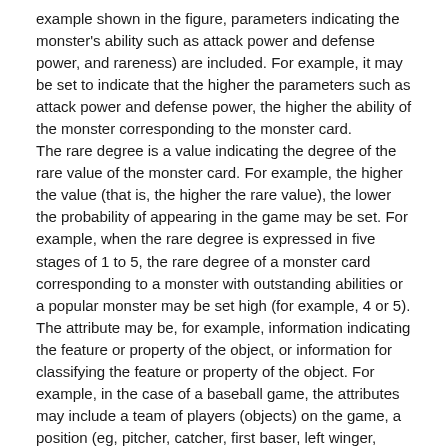example shown in the figure, parameters indicating the monster's ability such as attack power and defense power, and rareness) are included. For example, it may be set to indicate that the higher the parameters such as attack power and defense power, the higher the ability of the monster corresponding to the monster card.
The rare degree is a value indicating the degree of the rare value of the monster card. For example, the higher the value (that is, the higher the rare value), the lower the probability of appearing in the game may be set. For example, when the rare degree is expressed in five stages of 1 to 5, the rare degree of a monster card corresponding to a monster with outstanding abilities or a popular monster may be set high (for example, 4 or 5).
The attribute may be, for example, information indicating the feature or property of the object, or information for classifying the feature or property of the object. For example, in the case of a baseball game, the attributes may include a team of players (objects) on the game, a position (eg, pitcher, catcher, first baser, left winger, etc.).
The lottery box data is data in which information related to the lottery box held by the user is described. A data